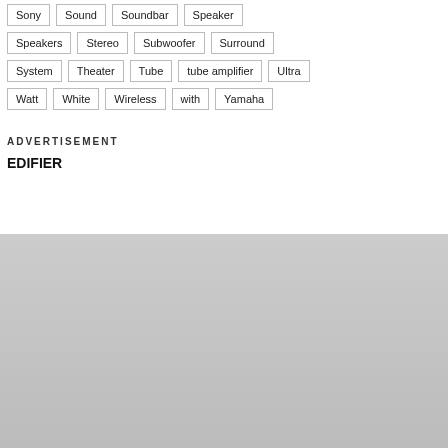Sony
Sound
Soundbar
Speaker
Speakers
Stereo
Subwoofer
Surround
System
Theater
Tube
tube amplifier
Ultra
Watt
White
Wireless
with
Yamaha
ADVERTISEMENT
EDIFIER
[Figure (screenshot): Cookie consent overlay on dark grey background with title 'Cookies', text 'This site uses cookies: Find out more.' and a black 'Okay, thanks' button. Below is partially visible speaker product image.]